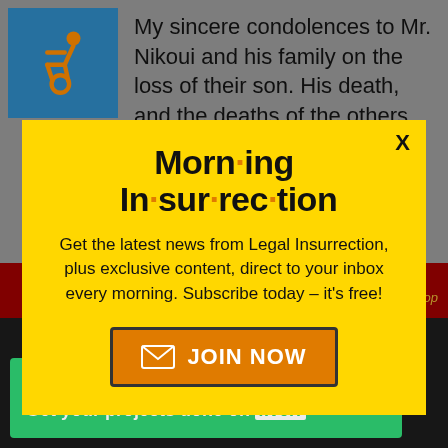My sincere condolences to Mr. Nikoui and his family on the loss of their son. His death, and the deaths of the others serving with him, should not have
Morn·ing In·sur·rec·tion
Get the latest news from Legal Insurrection, plus exclusive content, direct to your inbox every morning. Subscribe today – it's free!
JOIN NOW
Working from home?
Get your projects done on fiverr